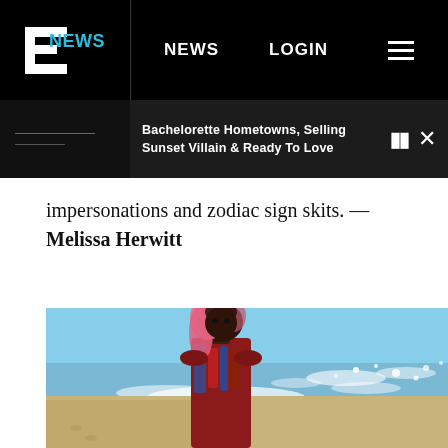E! NEWS  NEWS  LOGIN
Bachelorette Hometowns, Selling Sunset Villain & Ready To Love
impersonations and zodiac sign skits. — Melissa Herwitt
[Figure (photo): Woman with pink hair wearing a colorful patterned jacket standing on a beach, looking over her shoulder toward the camera. Ocean waves visible in background.]